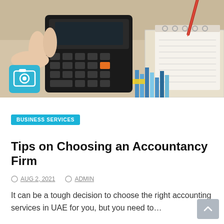[Figure (photo): Photo of hands using a calculator next to a spiral notebook with financial charts and documents, with a camera icon overlay in the bottom-left corner]
BUSINESS SERVICES
Tips on Choosing an Accountancy Firm
AUG 2, 2021   ADMIN
It can be a tough decision to choose the right accounting services in UAE for you, but you need to…